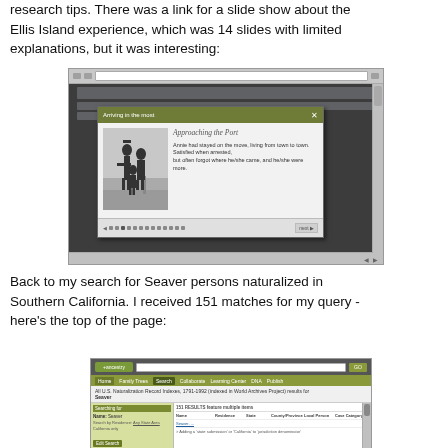research tips. There was a link for a slide show about the Ellis Island experience, which was 14 slides with limited explanations, but it was interesting:
[Figure (screenshot): Screenshot of a website showing an Ellis Island slideshow popup. The popup has a dark olive/green titlebar and contains a black-and-white photo of silhouetted figures (appearing to be immigrants approaching a port) with text 'Approaching the Port' and descriptive text. Below the image is a navigation bar with slide position indicators. The outer page shows a website interface with gray background.]
Back to my search for Seaver persons naturalized in Southern California. I received 151 matches for my query - here's the top of the page:
[Figure (screenshot): Screenshot of Ancestry.com showing search results for 'All U.S. Naturalization Record Indexes, 1791-1992 (indexed in World Archives Project) results for Seaver'. The page shows the Ancestry.com logo and navigation, a search results page with left sidebar for refining search results and a main results area showing columns for Name, Residence, State, County/Province, Local Person, and Case Category.]